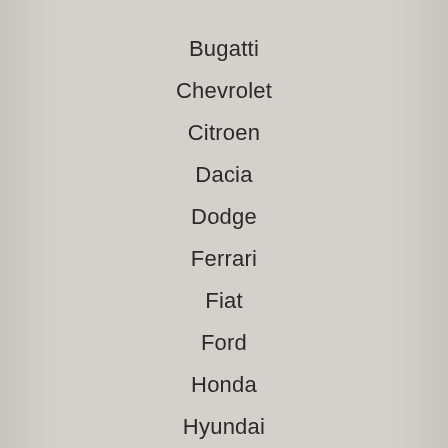Bugatti
Chevrolet
Citroen
Dacia
Dodge
Ferrari
Fiat
Ford
Honda
Hyundai
Jaguar